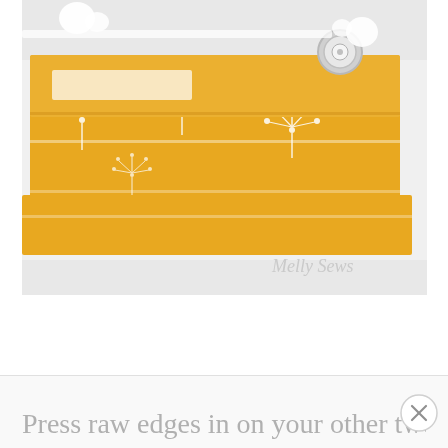[Figure (photo): Close-up photo of yellow and white dandelion-print fabric folded and stacked, with a white snap button visible at the top right, white pom-pom trim, and a watermark reading 'Melly Sews' in cursive at the bottom right corner. Background is light gray/white.]
Press raw edges in on your other two